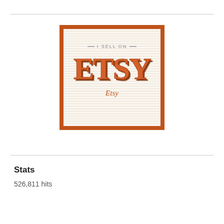[Figure (logo): Etsy 'I Sell On' badge with orange border and large retro ETSY lettering on a cream striped background, with 'Etsy' italic text below]
Stats
526,811 hits